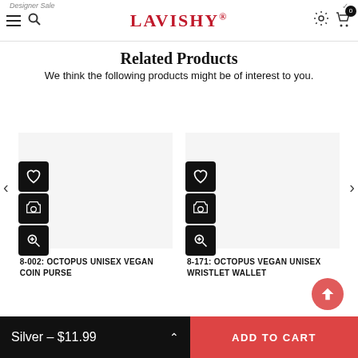LAVISHY
Related Products
We think the following products might be of interest to you.
[Figure (screenshot): Product card with action buttons (wishlist, add to cart, zoom) for 8-002: OCTOPUS UNISEX VEGAN COIN PURSE]
8-002: OCTOPUS UNISEX VEGAN COIN PURSE
[Figure (screenshot): Product card with action buttons (wishlist, add to cart, zoom) for 8-171: OCTOPUS VEGAN UNISEX WRISTLET WALLET]
8-171: OCTOPUS VEGAN UNISEX WRISTLET WALLET
Silver – $11.99   ADD TO CART